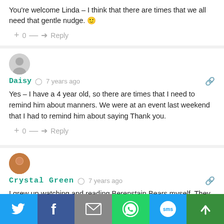You're welcome Linda – I think that there are times that we all need that gentle nudge. 🙂
+ 0 — → Reply
Daisy  🕐 7 years ago
Yes – I have a 4 year old, so there are times that I need to remind him about manners. We were at an event last weekend that I had to remind him about saying Thank you.
+ 0 — → Reply
Crystal Green  🕐 7 years ago
I grew up watching and reading Berenstain Bears myself. They were a very important show that I had to watch every time I